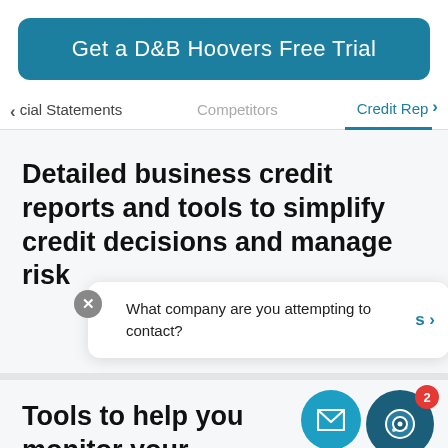Get a D&B Hoovers Free Trial
< cial Statements   Competitors   Credit Rep >
Detailed business credit reports and tools to simplify credit decisions and manage risk
What company are you attempting to contact?
Tools to help you monitor your company's business credit scores